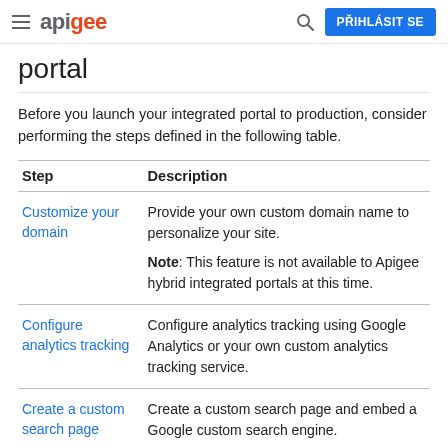apigee | PŘIHLÁSIT SE
portal
Before you launch your integrated portal to production, consider performing the steps defined in the following table.
| Step | Description |
| --- | --- |
| Customize your domain | Provide your own custom domain name to personalize your site.

Note: This feature is not available to Apigee hybrid integrated portals at this time. |
| Configure analytics tracking | Configure analytics tracking using Google Analytics or your own custom analytics tracking service. |
| Create a custom search page | Create a custom search page and embed a Google custom search engine. |